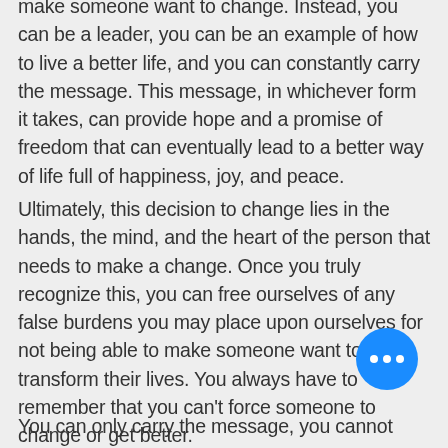make someone want to change. Instead, you can be a leader, you can be an example of how to live a better life, and you can constantly carry the message. This message, in whichever form it takes, can provide hope and a promise of freedom that can eventually lead to a better way of life full of happiness, joy, and peace.
Ultimately, this decision to change lies in the hands, the mind, and the heart of the person that needs to make a change. Once you truly recognize this, you can free ourselves of any false burdens you may place upon ourselves for not being able to make someone want to transform their lives. You always have to remember that you can't force someone to change or get better.
You can only carry the message, you cannot